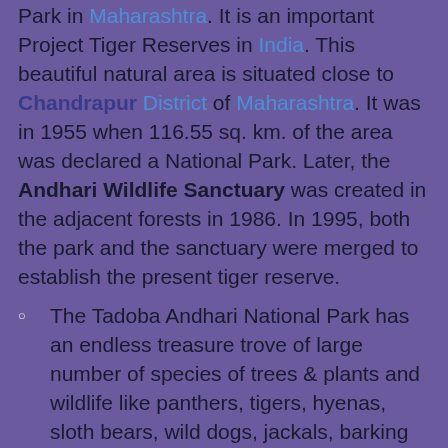Park in Maharashtra. It is an important Project Tiger Reserves in India. This beautiful natural area is situated close to Chandrapur District of Maharashtra. It was in 1955 when 116.55 sq. km. of the area was declared a National Park. Later, the Andhari Wildlife Sanctuary was created in the adjacent forests in 1986. In 1995, both the park and the sanctuary were merged to establish the present tiger reserve.
The Tadoba Andhari National Park has an endless treasure trove of large number of species of trees & plants and wildlife like panthers, tigers, hyenas, sloth bears, wild dogs, jackals, barking deer, bison, sambar, to name a few. Overshadowed by teak & bamboo, and with a magical landscape of rugged cliffs, marshlands, lakes, etc., it has a large variety of flora and fauna, which makes it a popular tourist spot.